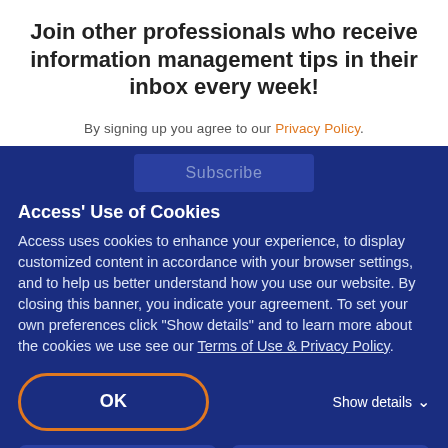Join other professionals who receive information management tips in their inbox every week!
By signing up you agree to our Privacy Policy.
Access' Use of Cookies
Access uses cookies to enhance your experience, to display customized content in accordance with your browser settings, and to help us better understand how you use our website. By closing this banner, you indicate your agreement. To set your own preferences click "Show details" and to learn more about the cookies we use see our Terms of Use & Privacy Policy.
OK
Show details